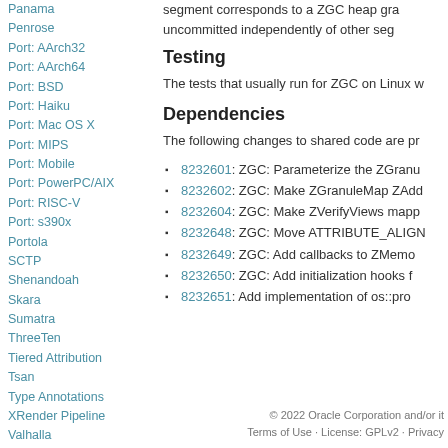Panama
Penrose
Port: AArch32
Port: AArch64
Port: BSD
Port: Haiku
Port: Mac OS X
Port: MIPS
Port: Mobile
Port: PowerPC/AIX
Port: RISC-V
Port: s390x
Portola
SCTP
Shenandoah
Skara
Sumatra
ThreeTen
Tiered Attribution
Tsan
Type Annotations
XRender Pipeline
Valhalla
Verona
VisualVM
Wakefield
Zero
ZGC
[Figure (logo): Oracle logo in red text]
segment corresponds to a ZGC heap gra... uncommitted independently of other seg...
Testing
The tests that usually run for ZGC on Linux w...
Dependencies
The following changes to shared code are pr...
8232601: ZGC: Parameterize the ZGranu...
8232602: ZGC: Make ZGranuleMap ZAdd...
8232604: ZGC: Make ZVerifyViews mapp...
8232648: ZGC: Move ATTRIBUTE_ALIGN...
8232649: ZGC: Add callbacks to ZMemo...
8232650: ZGC: Add initialization hooks f...
8232651: Add implementation of os::pro...
© 2022 Oracle Corporation and/or it... Terms of Use · License: GPLv2 · Privacy